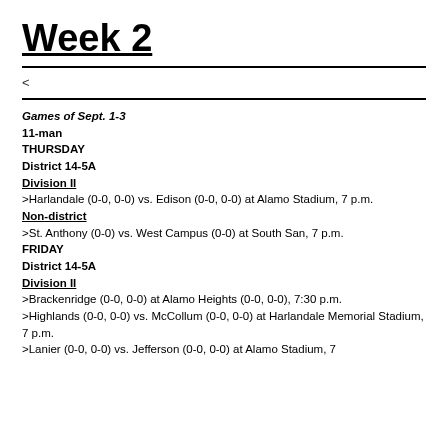Week 2
<
Games of Sept. 1-3
11-man
THURSDAY
District 14-5A
Division II
>Harlandale (0-0, 0-0) vs. Edison (0-0, 0-0) at Alamo Stadium, 7 p.m.
Non-district
>St. Anthony (0-0) vs. West Campus (0-0) at South San, 7 p.m.
FRIDAY
District 14-5A
Division II
>Brackenridge (0-0, 0-0) at Alamo Heights (0-0, 0-0), 7:30 p.m.
>Highlands (0-0, 0-0) vs. McCollum (0-0, 0-0) at Harlandale Memorial Stadium, 7 p.m.
>Lanier (0-0, 0-0) vs. Jefferson (0-0, 0-0) at Alamo Stadium, 7